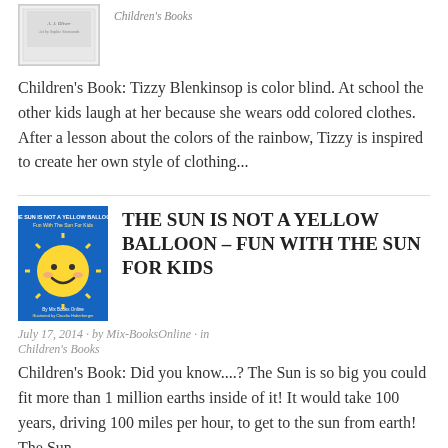[Figure (illustration): Book thumbnail with small text and author name]
Children's Books
Children's Book: Tizzy Blenkinsop is color blind. At school the other kids laugh at her because she wears odd colored clothes. After a lesson about the colors of the rainbow, Tizzy is inspired to create her own style of clothing...
[Figure (illustration): Book cover: The Sun Is Not A Yellow Balloon - blue background with smiley sun cartoon]
THE SUN IS NOT A YELLOW BALLOON – FUN WITH THE SUN FOR KIDS
July 17, 2014 · by Mix-BooksOnline · in Children's Books
Children's Book: Did you know....? The Sun is so big you could fit more than 1 million earths inside of it! It would take 100 years, driving 100 miles per hour, to get to the sun from earth! The Sun...
[Figure (illustration): Book cover: Counting Kids - blue text on white background]
COUNTING KIDS – A FUN RHYMING PICTURE BOOK